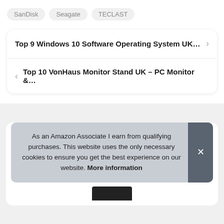SanDisk
Seagate
TECLAST
Top 9 Windows 10 Software Operating System UK…
Top 10 VonHaus Monitor Stand UK – PC Monitor &…
As an Amazon Associate I earn from qualifying purchases. This website uses the only necessary cookies to ensure you get the best experience on our website. More information